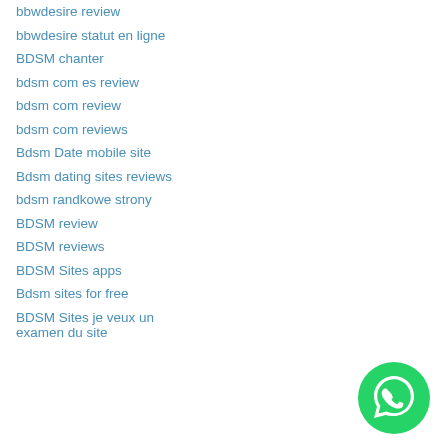bbwdesire review
bbwdesire statut en ligne
BDSM chanter
bdsm com es review
bdsm com review
bdsm com reviews
Bdsm Date mobile site
Bdsm dating sites reviews
bdsm randkowe strony
BDSM review
BDSM reviews
BDSM Sites apps
Bdsm sites for free
BDSM Sites je veux un examen du site
[Figure (logo): WhatsApp logo — green circle with white phone handset icon]